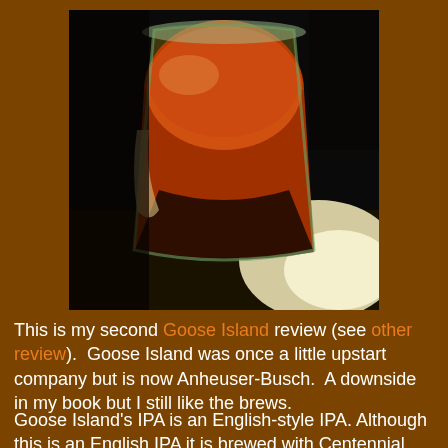[Figure (photo): A close-up photo of a glass of amber/orange IPA beer on a dark background with bright light reflection on the right side]
This is my second Goose Island review (see other review).  Goose Island was once a little upstart company but is now Anheuser-Busch.  A downside in my book but I still like the brews.
Goose Island's IPA is an English-style IPA. Although this is an English IPA it is brewed with Centennial and Cascade